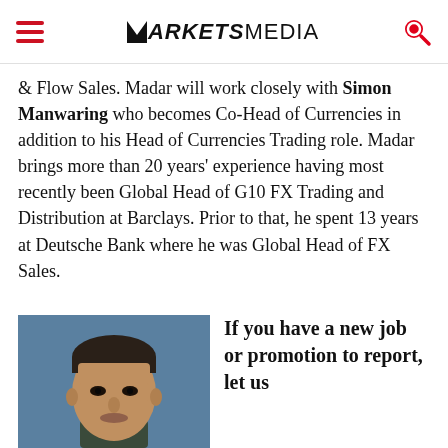MARKETSMEDIA
& Flow Sales. Madar will work closely with Simon Manwaring who becomes Co-Head of Currencies in addition to his Head of Currencies Trading role. Madar brings more than 20 years' experience having most recently been Global Head of G10 FX Trading and Distribution at Barclays. Prior to that, he spent 13 years at Deutsche Bank where he was Global Head of FX Sales.
[Figure (photo): Headshot photo of a man with dark hair against a blue background]
If you have a new job or promotion to report, let us